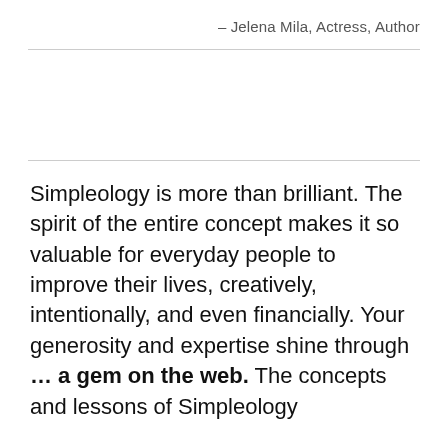– Jelena Mila, Actress, Author
Simpleology is more than brilliant. The spirit of the entire concept makes it so valuable for everyday people to improve their lives, creatively, intentionally, and even financially. Your generosity and expertise shine through … a gem on the web. The concepts and lessons of Simpleology have helped me rethink…